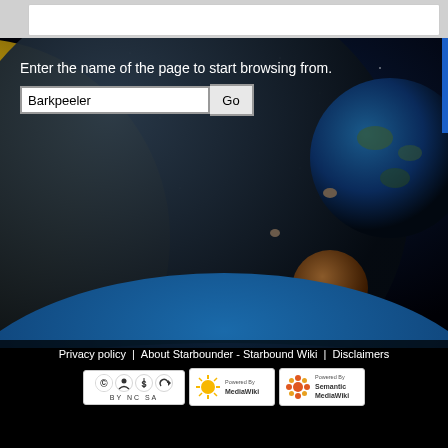[Figure (screenshot): Top browser-like navigation bar with white search/address box]
Enter the name of the page to start browsing from.
Barkpeeler
[Figure (illustration): Starbound game space scene with planets, asteroids, and a pixelated earth landscape at the bottom]
Privacy policy | About Starbounder - Starbound Wiki | Disclaimers | Powered By MediaWiki | Powered By Semantic MediaWiki